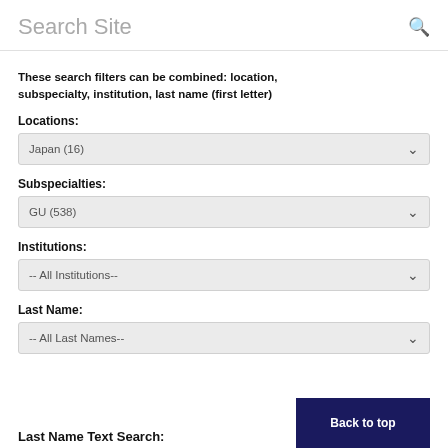Search Site
These search filters can be combined: location, subspecialty, institution, last name (first letter)
Locations:
Japan (16)
Subspecialties:
GU (538)
Institutions:
-- All Institutions--
Last Name:
-- All Last Names--
Last Name Text Search:
Back to top